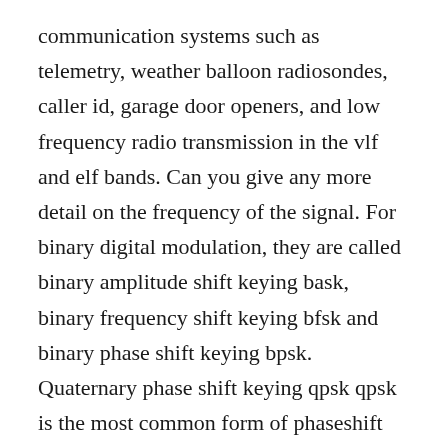communication systems such as telemetry, weather balloon radiosondes, caller id, garage door openers, and low frequency radio transmission in the vlf and elf bands. Can you give any more detail on the frequency of the signal. For binary digital modulation, they are called binary amplitude shift keying bask, binary frequency shift keying bfsk and binary phase shift keying bpsk. Quaternary phase shift keying qpsk qpsk is the most common form of phaseshift keying. The block outputs an integer number of samples, steps, or sweeps. Mfsk multiple frequency shiftkeying